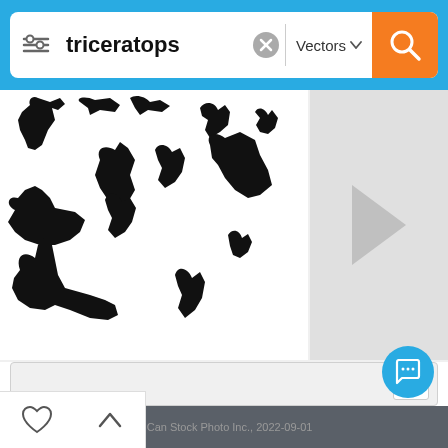[Figure (screenshot): Search bar with filter icon, 'triceratops' text query, clear button, Vectors dropdown, and orange search button on blue background]
[Figure (photo): Black silhouettes of various dinosaurs including triceratops, brachiosaurus, raptor, and others on white background. A right-arrow navigation panel is shown to the right.]
[Figure (other): Pagination bar with right arrow button]
More Information
License Agreement
About Can Stock Photo
Privacy
Sell Your Images / Clips
Terms & Conditions
Contact Us
© Can Stock Photo Inc., 2022-09-01